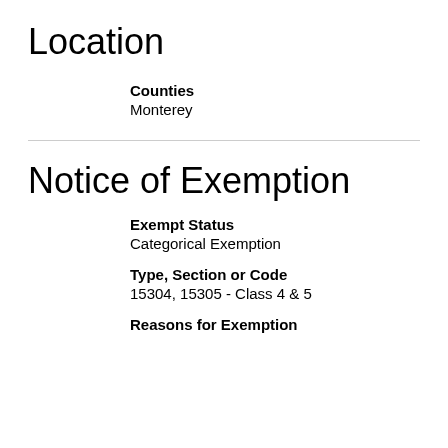Location
Counties
Monterey
Notice of Exemption
Exempt Status
Categorical Exemption
Type, Section or Code
15304, 15305 - Class 4 & 5
Reasons for Exemption